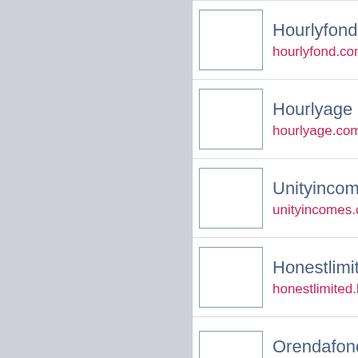Hourlyfond
hourlyfond.com
Hourlyage
hourlyage.com
Unityincomes
unityincomes.com
Honestlimited
honestlimited.biz
Orendafond
orendafond.com